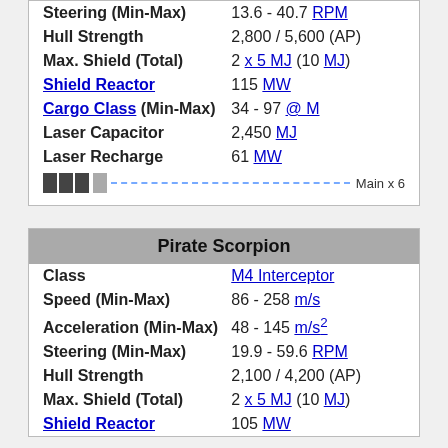| Property | Value |
| --- | --- |
| Steering (Min-Max) | 13.6 - 40.7 RPM |
| Hull Strength | 2,800 / 5,600 (AP) |
| Max. Shield (Total) | 2 x 5 MJ (10 MJ) |
| Shield Reactor | 115 MW |
| Cargo Class (Min-Max) | 34 - 97 @ M |
| Laser Capacitor | 2,450 MJ |
| Laser Recharge | 61 MW |
[Figure (infographic): Weapon bar indicator showing 3 dark blocks, 1 gray block, dashed blue line, label 'Main x 6']
| Property | Value |
| --- | --- |
| Class | M4 Interceptor |
| Speed (Min-Max) | 86 - 258 m/s |
| Acceleration (Min-Max) | 48 - 145 m/s² |
| Steering (Min-Max) | 19.9 - 59.6 RPM |
| Hull Strength | 2,100 / 4,200 (AP) |
| Max. Shield (Total) | 2 x 5 MJ (10 MJ) |
| Shield Reactor | 105 MW |